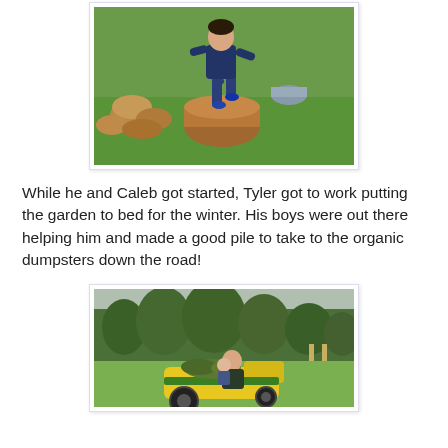[Figure (photo): A boy in a dark blue hoodie and jeans jumping or posing on a large log in a garden, with more cut logs and green grass in the background.]
While he and Caleb got started, Tyler got to work putting the garden to bed for the winter. His boys were out there helping him and made a good pile to take to the organic dumpsters down the road!
[Figure (photo): A man and a small child sitting on a yellow and green ride-on lawn tractor loaded with garden debris, in a garden with trees in the background.]